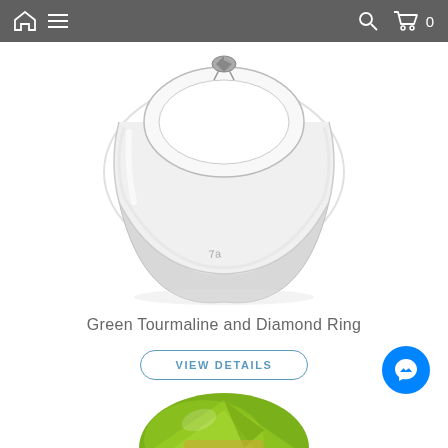Navigation bar with home icon, menu icon, search icon, cart icon (0 items)
[Figure (photo): Close-up photo of a white gold or platinum ring with a small diamond or gemstone set at the top, showing the inner band with a small engraved logo mark. The ring is photographed on a white background from a diagonal angle.]
Green Tourmaline and Diamond Ring
VIEW DETAILS
[Figure (photo): Partial view of a green gemstone (likely peridot or green tourmaline) set in a gold ring, visible at the bottom of the page.]